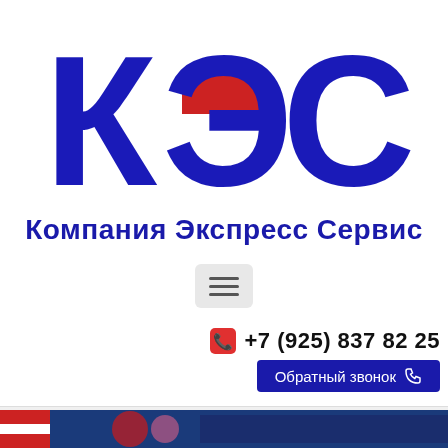[Figure (logo): КЭС logo with large dark blue Cyrillic letters К, Э, С and a red rectangle accent behind the middle letter, followed by the company name Компания Экспресс Сервис in dark blue bold text]
[Figure (other): Hamburger menu button icon (three horizontal lines) inside a light gray rounded rectangle]
+7 (925) 837 82 25
Обратный звонок
Optiplex 9020 sff memory slots
[Figure (photo): Bottom strip showing partial photo with colorful New Zealand flag-like imagery and decorative elements]